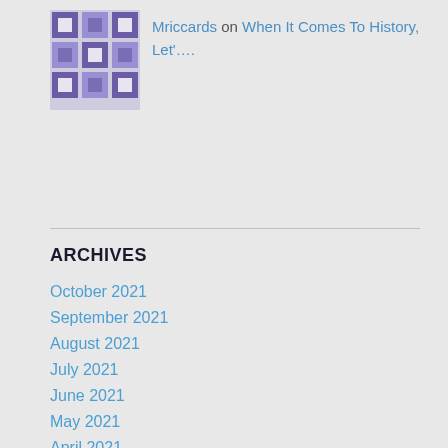Mriccards on When It Comes To History, Let'....
ARCHIVES
October 2021
September 2021
August 2021
July 2021
June 2021
May 2021
April 2021
March 2021
February 2021
January 2021
December 2020
November 2020
October 2020